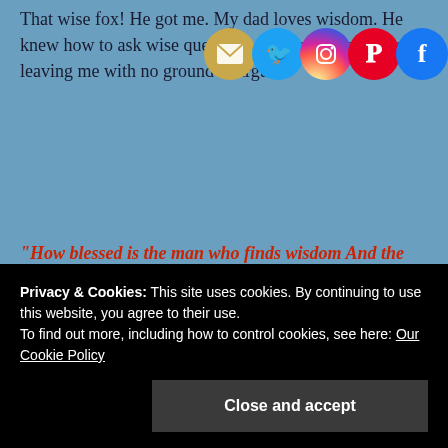That wise fox! He got me. My dad loves wisdom. He knew how to ask wise questions were piercing my heart, leaving me with no ground to argue.
[Figure (illustration): Row of five social media icon buttons: email (yellow envelope), Twitter (blue bird), Instagram (gradient camera), Pinterest (red P), Facebook (blue f)]
“How blessed is the man who finds wisdom And the man who gains understanding.” Proverbs 3:13 NASB
Our behavior towards others needs to contain the attributes of seeking righteousness,
Privacy & Cookies: This site uses cookies. By continuing to use this website, you agree to their use. To find out more, including how to control cookies, see here: Our Cookie Policy
Close and accept